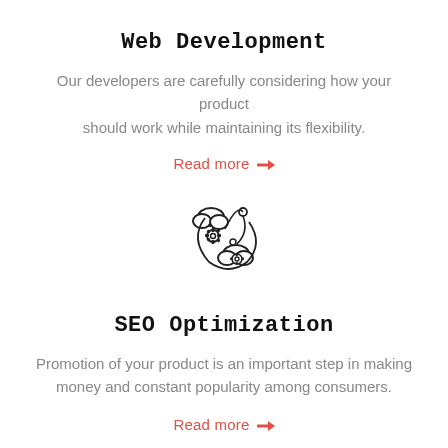Web Development
Our developers are carefully considering how your product should work while maintaining its flexibility.
Read more →
[Figure (illustration): Icon of two gears and a cloud, representing SEO or settings, drawn in outline/monochrome style]
SEO Optimization
Promotion of your product is an important step in making money and constant popularity among consumers.
Read more →